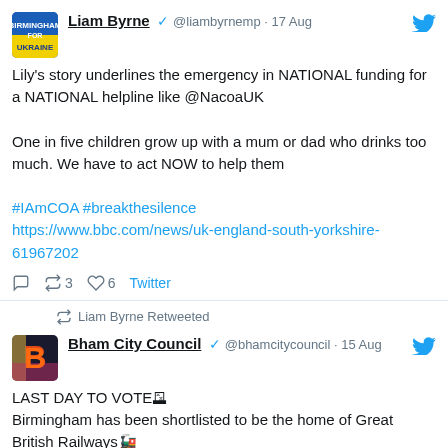[Figure (screenshot): Tweet from Liam Byrne (@liambyrnemp) dated 17 Aug with Ukraine avatar. Text: Lily's story underlines the emergency in NATIONAL funding for a NATIONAL helpline like @NacoaUK. One in five children grow up with a mum or dad who drinks too much. We have to act NOW to help them. #IAmCOA #breakthesilence https://www.bbc.com/news/uk-england-south-yorkshire-61967202. Actions: reply, 3 retweets, 6 likes, Twitter link.]
[Figure (screenshot): Liam Byrne Retweeted. Tweet from Bham City Council (@bhamcitycouncil) dated 15 Aug. Text: LAST DAY TO VOTE! Birmingham has been shortlisted to be the home of Great British Railways! Now we need your help to get us on track to win. #VoteBrum TODAY here: https://orlo.uk/cYQaO]